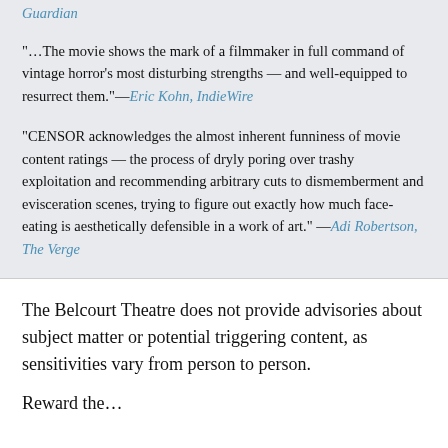Guardian
"…The movie shows the mark of a filmmaker in full command of vintage horror's most disturbing strengths — and well-equipped to resurrect them."—Eric Kohn, IndieWire
"CENSOR acknowledges the almost inherent funniness of movie content ratings — the process of dryly poring over trashy exploitation and recommending arbitrary cuts to dismemberment and evisceration scenes, trying to figure out exactly how much face-eating is aesthetically defensible in a work of art." —Adi Robertson, The Verge
The Belcourt Theatre does not provide advisories about subject matter or potential triggering content, as sensitivities vary from person to person.
Reward the...